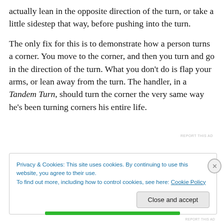actually lean in the opposite direction of the turn, or take a little sidestep that way, before pushing into the turn.
The only fix for this is to demonstrate how a person turns a corner. You move to the corner, and then you turn and go in the direction of the turn. What you don't do is flap your arms, or lean away from the turn. The handler, in a Tandem Turn, should turn the corner the very same way he's been turning corners his entire life.
REPORT THIS AD
Privacy & Cookies: This site uses cookies. By continuing to use this website, you agree to their use.
To find out more, including how to control cookies, see here: Cookie Policy
Close and accept
REPORT THIS AD